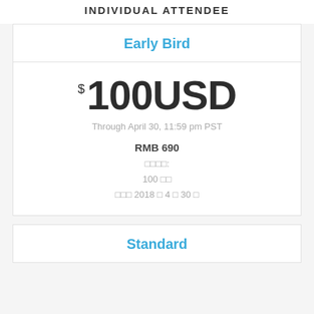INDIVIDUAL ATTENDEE
Early Bird
$100USD
Through April 30, 11:59 pm PST
RMB 690
□□□□:
100 □□
□□□ 2018 □ 4 □ 30 □
Standard